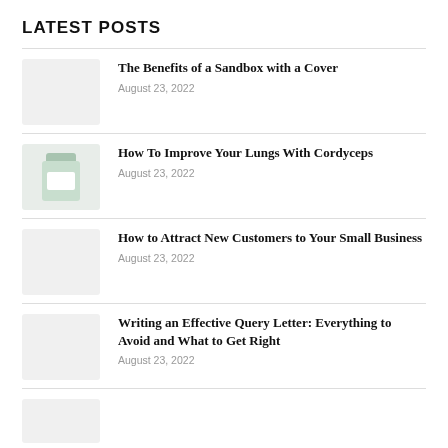LATEST POSTS
The Benefits of a Sandbox with a Cover
August 23, 2022
How To Improve Your Lungs With Cordyceps
August 23, 2022
How to Attract New Customers to Your Small Business
August 23, 2022
Writing an Effective Query Letter: Everything to Avoid and What to Get Right
August 23, 2022
(partial post item, cut off)